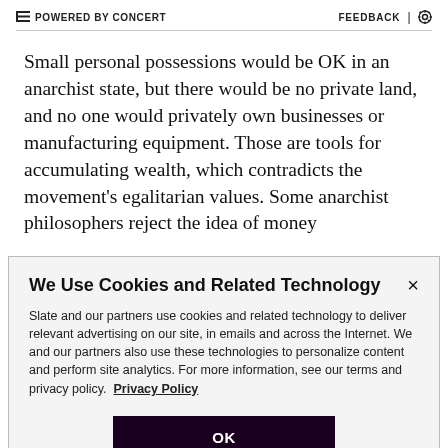POWERED BY CONCERT   FEEDBACK | ⚙
Small personal possessions would be OK in an anarchist state, but there would be no private land, and no one would privately own businesses or manufacturing equipment. Those are tools for accumulating wealth, which contradicts the movement's egalitarian values. Some anarchist philosophers reject the idea of money
We Use Cookies and Related Technology
Slate and our partners use cookies and related technology to deliver relevant advertising on our site, in emails and across the Internet. We and our partners also use these technologies to personalize content and perform site analytics. For more information, see our terms and privacy policy.  Privacy Policy
OK